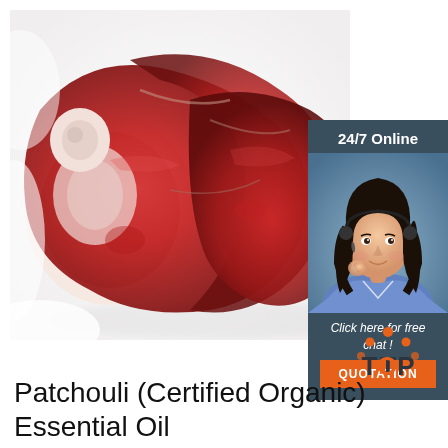[Figure (photo): Close-up photo of raw meat/bones with red flesh visible on white background]
[Figure (infographic): Sidebar widget with dark blue-grey background showing '24/7 Online' header, a customer service agent woman with headset, text 'Click here for free chat !', and an orange QUOTATION button]
[Figure (logo): Orange and dark 'TOP' logo with dotted arc above the letters]
Patchouli (Certified Organic) Essential Oil